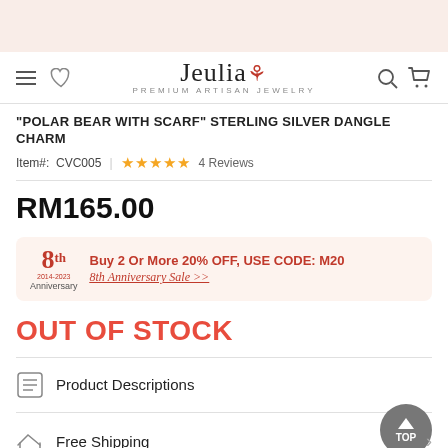[Figure (screenshot): Jeulia e-commerce website header with navigation bar showing hamburger menu, heart icon, Jeulia logo with tagline PREMIUM ARTISAN JEWELRY, search and cart icons]
"POLAR BEAR WITH SCARF" STERLING SILVER DANGLE CHARM
Item#: CVC005 ★★★★★ 4 Reviews
RM165.00
Buy 2 Or More 20% OFF, USE CODE: M20
8th Anniversary Sale >>
OUT OF STOCK
Product Descriptions
Free Shipping
30-Day Return